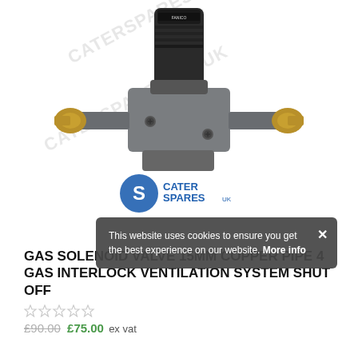[Figure (photo): Gas solenoid valve with black cylindrical top section labeled FANICO and grey metal body with two brass pipe fittings on left and right sides. Caterspares UK logo overlay visible (blue S logo and text). Watermark text CATERSPARES.CO.UK diagonally across image.]
This website uses cookies to ensure you get the best experience on our website. More info
GAS SOLENOID VALVE 15mm COPPER PIPE 4 GAS INTERLOCK VENTILATION SYSTEM SHUT OFF
£90.00 £75.00 ex vat